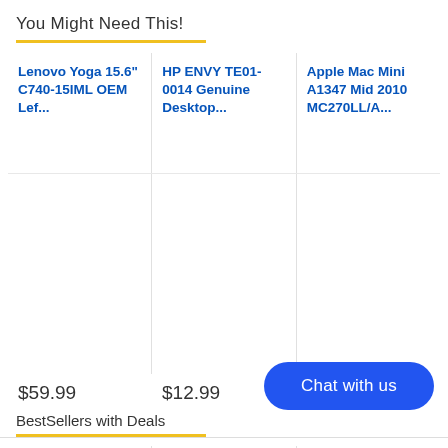You Might Need This!
Lenovo Yoga 15.6" C740-15IML OEM Lef...
$59.99
HP ENVY TE01-0014 Genuine Desktop...
$12.99
Apple Mac Mini A1347 Mid 2010 MC270LL/A...
$18.99
BestSellers with Deals
HP EliteBook x360 13.3" 1030 G2 i7-...
Lenovo ThinkPad X1 Carbon 8th...
Genuine...
Chat with us